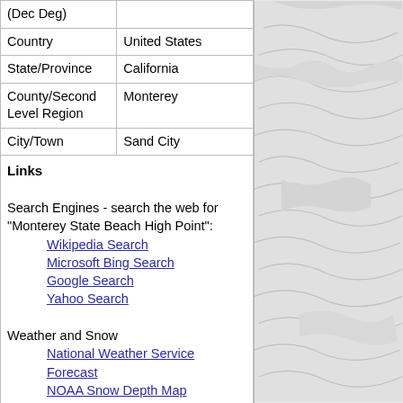| (Dec Deg) |  |
| Country | United States |
| State/Province | California |
| County/Second Level Region | Monterey |
| City/Town | Sand City |
Links
Search Engines - search the web for "Monterey State Beach High Point":
Wikipedia Search
Microsoft Bing Search
Google Search
Yahoo Search
Weather and Snow
National Weather Service Forecast
NOAA Snow Depth Map
Lists that contain Monterey State Beach High Point:
California State Park High Points (Rank #212)
Ascent Info
Total ascents/attempts logged by